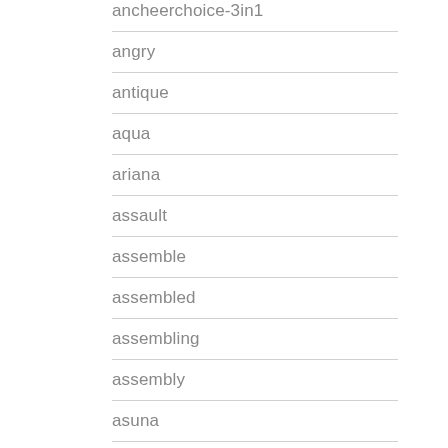ancheerchoice-3in1
angry
antique
aqua
ariana
assault
assemble
assembled
assembling
assembly
asuna